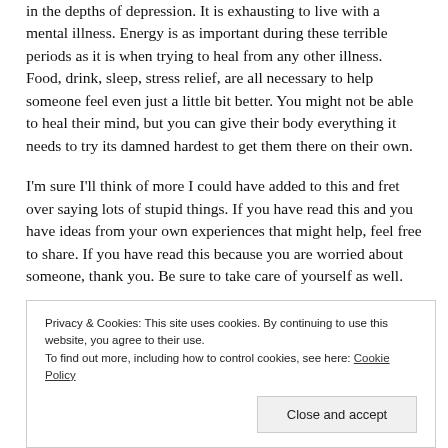in the depths of depression. It is exhausting to live with a mental illness. Energy is as important during these terrible periods as it is when trying to heal from any other illness. Food, drink, sleep, stress relief, are all necessary to help someone feel even just a little bit better. You might not be able to heal their mind, but you can give their body everything it needs to try its damned hardest to get them there on their own.
I'm sure I'll think of more I could have added to this and fret over saying lots of stupid things. If you have read this and you have ideas from your own experiences that might help, feel free to share. If you have read this because you are worried about someone, thank you. Be sure to take care of yourself as well.
Privacy & Cookies: This site uses cookies. By continuing to use this website, you agree to their use. To find out more, including how to control cookies, see here: Cookie Policy